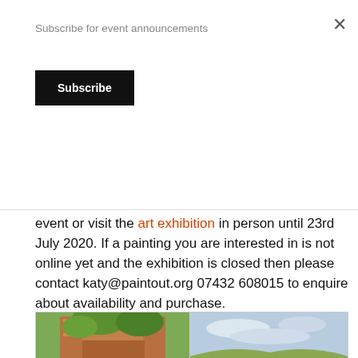Subscribe for event announcements
Subscribe
event or visit the art exhibition in person until 23rd July 2020. If a painting you are interested in is not online yet and the exhibition is closed then please contact katy@paintout.org 07432 608015 to enquire about availability and purchase.
[Figure (photo): Watercolour painting of a garden with brick columns and colorful flowers including lupins, agapanthus and daisies]
[Figure (photo): Painting of an estuary or coastal landscape with wide skies and marshland]
[Figure (photo): Partial view of an interior painting, beige/cream tones]